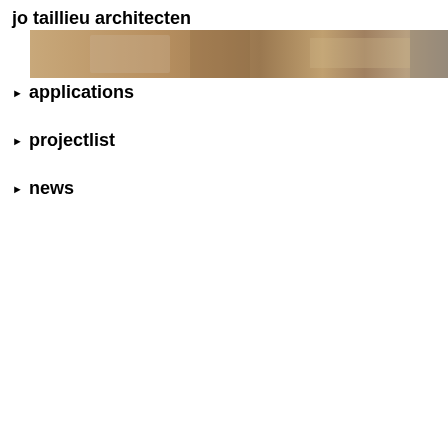jo taillieu architecten
[Figure (photo): Partially visible architectural photo strip showing warm brown/tan tones, overlapping the title text area]
applications
projectlist
news